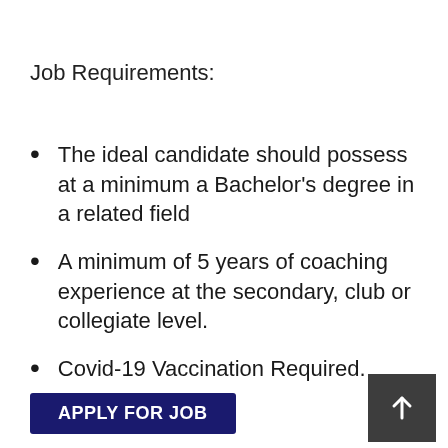Job Requirements:
The ideal candidate should possess at a minimum a Bachelor’s degree in a related field
A minimum of 5 years of coaching experience at the secondary, club or collegiate level.
Covid-19 Vaccination Required.